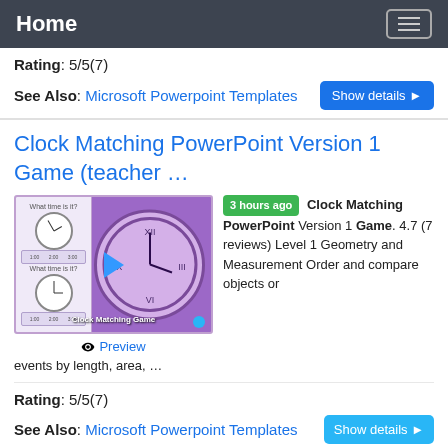Home
Rating: 5/5(7)
See Also: Microsoft Powerpoint Templates
Clock Matching PowerPoint Version 1 Game (teacher …
[Figure (screenshot): Screenshot thumbnail of Clock Matching Game PowerPoint showing clocks on purple background, with play button overlay and Preview link below]
3 hours ago Clock Matching PowerPoint Version 1 Game. 4.7 (7 reviews) Level 1 Geometry and Measurement Order and compare objects or events by length, area, …
Rating: 5/5(7)
See Also: Microsoft Powerpoint Templates